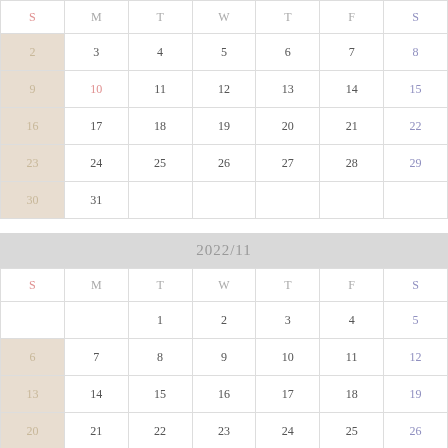| S | M | T | W | T | F | S |
| --- | --- | --- | --- | --- | --- | --- |
| 2 | 3 | 4 | 5 | 6 | 7 | 8 |
| 9 | 10 | 11 | 12 | 13 | 14 | 15 |
| 16 | 17 | 18 | 19 | 20 | 21 | 22 |
| 23 | 24 | 25 | 26 | 27 | 28 | 29 |
| 30 | 31 |  |  |  |  |  |
2022/11
| S | M | T | W | T | F | S |
| --- | --- | --- | --- | --- | --- | --- |
|  |  | 1 | 2 | 3 | 4 | 5 |
| 6 | 7 | 8 | 9 | 10 | 11 | 12 |
| 13 | 14 | 15 | 16 | 17 | 18 | 19 |
| 20 | 21 | 22 | 23 | 24 | 25 | 26 |
| 27 | 28 | 29 | 30 |  |  |  |
|  |  |  |  |  |  |  |